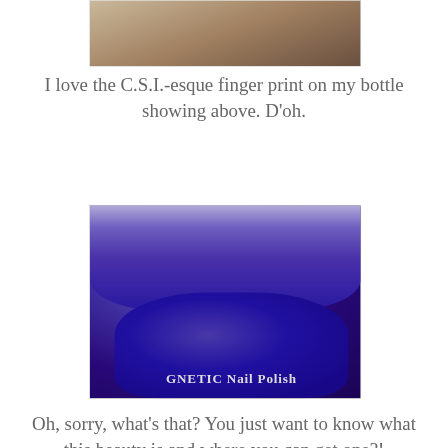[Figure (photo): Partial photo at top of page showing a nail polish bottle or product, cropped at bottom of image]
I love the C.S.I.-esque finger print on my bottle showing above.  D'oh.
[Figure (photo): Photo showing a hand with purple/dark blue nail polish and a dark purple nail polish bottle labeled MAGNETIC Nail Polish Next Generation]
Oh, sorry, what's that?  You just want to know what this beauty is and where you can get one?!
[Figure (photo): Photo showing a hand with deep blue-purple magnetic nail polish applied to all visible nails, with nail polish bottle partially visible at bottom]